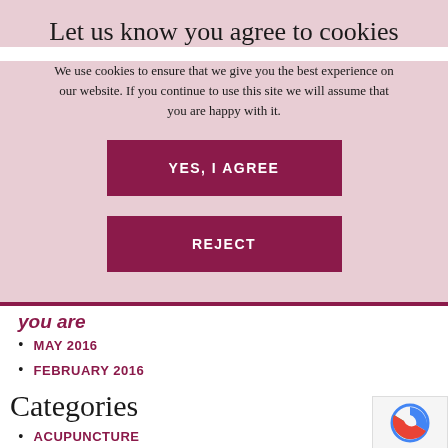Let us know you agree to cookies
We use cookies to ensure that we give you the best experience on our website. If you continue to use this site we will assume that you are happy with it.
YES, I AGREE
REJECT
you are
MAY 2016
FEBRUARY 2016
Categories
ACUPUNCTURE
CANCER